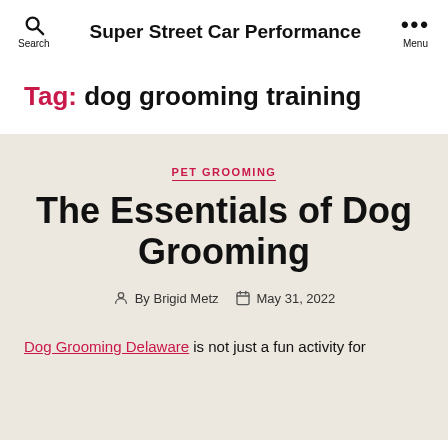Super Street Car Performance
Tag: dog grooming training
PET GROOMING
The Essentials of Dog Grooming
By Brigid Metz   May 31, 2022
Dog Grooming Delaware is not just a fun activity for